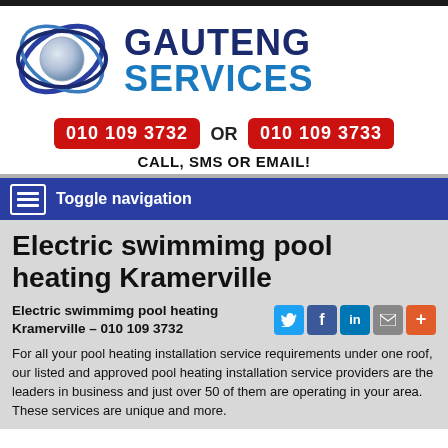[Figure (logo): Gauteng Services logo with globe/orbital graphic and text GAUTENG SERVICES]
010 109 3732 OR 010 109 3733
CALL, SMS OR EMAIL!
Toggle navigation
Electric swimmimg pool heating Kramerville
Electric swimmimg pool heating Kramerville – 010 109 3732
For all your pool heating installation service requirements under one roof, our listed and approved pool heating installation service providers are the leaders in business and just over 50 of them are operating in your area. These services are unique and more.